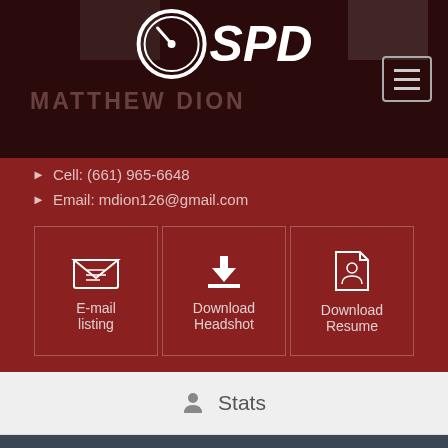[Figure (logo): SPD logo with speedometer icon and stylized SPD text, overlaid on dark background with partially visible name MATTHEW [DION] and hamburger menu button]
Cell: (661) 965-6648
Email: mdion126@gmail.com
[Figure (infographic): Three action buttons: E-mail listing (envelope icon), Download Headshot (download icon), Download Resume (document/person icon)]
Stats
Abilities
Doubles
Media